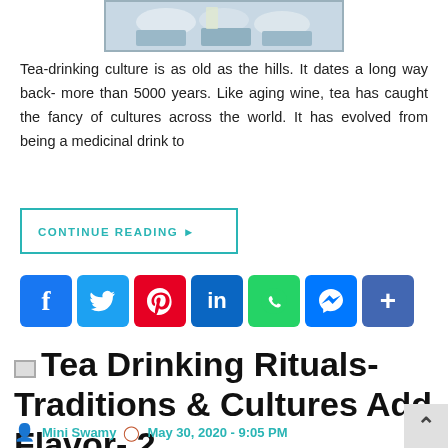[Figure (photo): Partial photo of tea cups on a table, cropped at top of page]
Tea-drinking culture is as old as the hills. It dates a long way back- more than 5000 years. Like aging wine, tea has caught the fancy of cultures across the world. It has evolved from being a medicinal drink to
CONTINUE READING ▶
[Figure (other): Social media share buttons: Facebook, Twitter, Pinterest, LinkedIn, WhatsApp, Messenger, More]
Tea Drinking Rituals- Traditions & Cultures Add Flavor- 2
Mini Swamy   May 30, 2020 - 9:05 PM